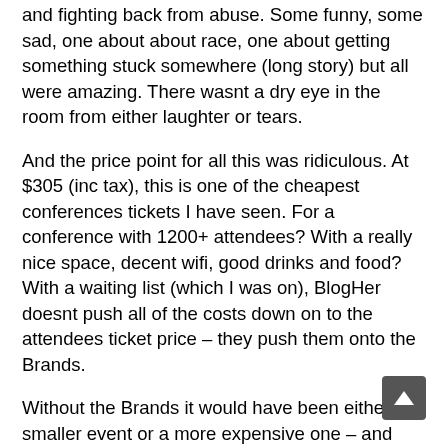and fighting back from abuse. Some funny, some sad, one about about race, one about getting something stuck somewhere (long story) but all were amazing. There wasnt a dry eye in the room from either laughter or tears.
And the price point for all this was ridiculous. At $305 (inc tax), this is one of the cheapest conferences tickets I have seen. For a conference with 1200+ attendees? With a really nice space, decent wifi, good drinks and food? With a waiting list (which I was on), BlogHer doesnt push all of the costs down on to the attendees ticket price – they push them onto the Brands.
Without the Brands it would have been either a smaller event or a more expensive one – and maybe not the same. This is a BUSINESS decision on the part of the BlogHer team. More Brands wanted to work with them ($$$) which allowed the Wait List to be opened up. Brands wanted to leverage the center of gravity being built by this community to get noticed and start conversations. Attendees want a great experience, with as much quality and at as low a cost